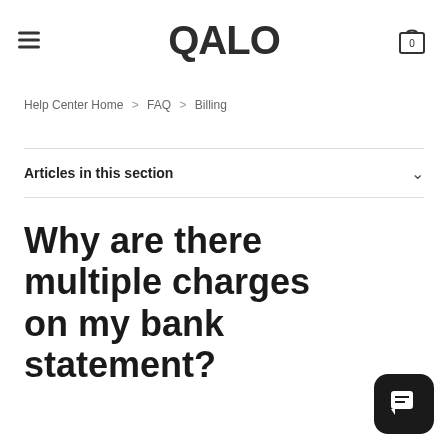QALO
Help Center Home > FAQ > Billing
Articles in this section
Why are there multiple charges on my bank statement?